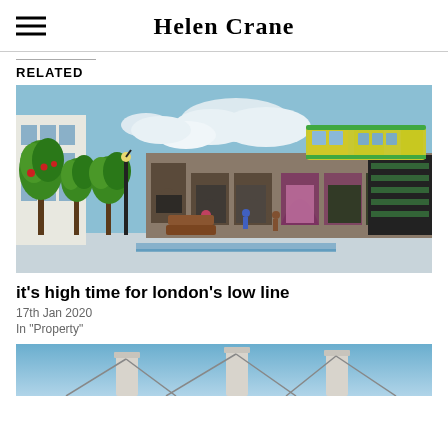Helen Crane
RELATED
[Figure (illustration): Illustrated rendering of London's Low Line – a pedestrian street scene beneath a railway viaduct with shops in arches, trees, people walking, and a yellow-green train on top of the viaduct.]
it's high time for london's low line
17th Jan 2020
In "Property"
[Figure (photo): Partial photo showing industrial chimney stacks against a blue sky, likely Battersea Power Station or similar landmark.]